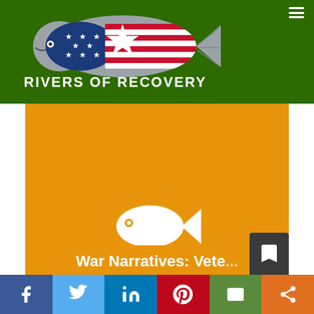[Figure (logo): Rivers of Recovery logo — a trout fish with American flag pattern (stars and stripes) on body, gray fish silhouette, with text RIVERS OF RECOVERY below in white bold capitals on dark green background]
[Figure (illustration): Orange background section with white fish icon in center]
War Narratives: Vete...
[Figure (other): Social media sharing bar at the bottom with Facebook, Twitter, LinkedIn, Pinterest, Email, and Share buttons]